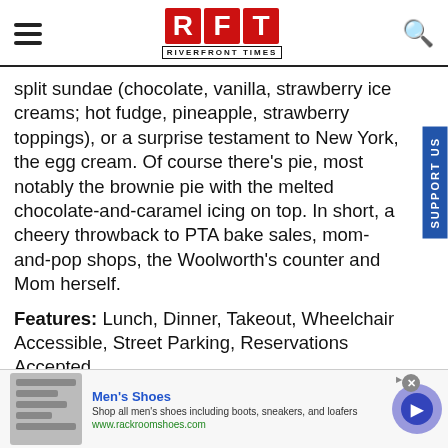RFT RIVERFRONT TIMES
split sundae (chocolate, vanilla, strawberry ice creams; hot fudge, pineapple, strawberry toppings), or a surprise testament to New York, the egg cream. Of course there's pie, most notably the brownie pie with the melted chocolate-and-caramel icing on top. In short, a cheery throwback to PTA bake sales, mom-and-pop shops, the Woolworth's counter and Mom herself.
Features: Lunch, Dinner, Takeout, Wheelchair Accessible, Street Parking, Reservations Accepted
Price: $
Payment Type: All Major Credit Cards, Diners Club, cash, check, ATM/Debit
[Figure (screenshot): Advertisement banner for Men's Shoes from rackroomshoes.com]